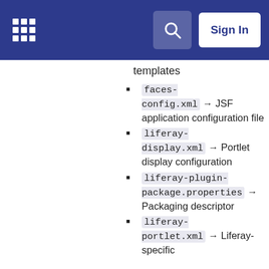Liferay documentation site header with logo, search, and Sign In
templates
faces-config.xml → JSF application configuration file
liferay-display.xml → Portlet display configuration
liferay-plugin-package.properties → Packaging descriptor
liferay-portlet.xml → Liferay-specific